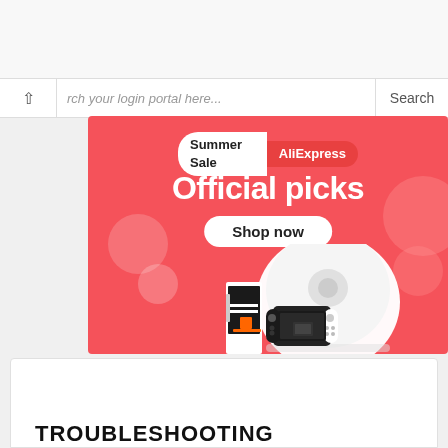[Figure (screenshot): Browser search bar with chevron back button, search input placeholder text 'rch your login portal here...' and Search button]
[Figure (infographic): AliExpress Summer Sale banner ad on pink/coral background. Badge reads 'Summer Sale AliExpress'. Large white text 'Official picks'. White rounded button 'Shop now'. Products shown: robot vacuum cleaner, gaming PC tower, Nintendo Switch console.]
TROUBLESHOOTING